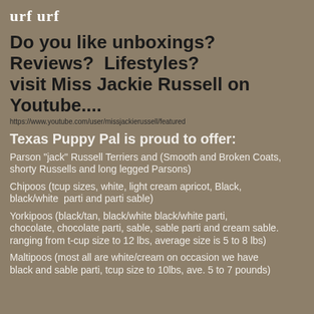urf urf
Do you like unboxings? Reviews?  Lifestyles? visit Miss Jackie Russell on Youtube....
https://www.youtube.com/user/missjackierussell/featured
Texas Puppy Pal is proud to offer:
Parson "jack" Russell Terriers and (Smooth and Broken Coats, shorty Russells and long legged Parsons)
Chipoos (tcup sizes, white, light cream apricot, Black, black/white  parti and parti sable)
Yorkipoos (black/tan, black/white black/white parti, chocolate, chocolate parti, sable, sable parti and cream sable. ranging from t-cup size to 12 lbs, average size is 5 to 8 lbs)
Maltipoos (most all are white/cream on occasion we have black and sable parti, tcup size to 10lbs, ave. 5 to 7 pounds)